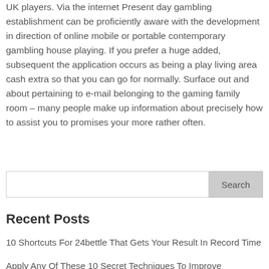UK players. Via the internet Present day gambling establishment can be proficiently aware with the development in direction of online mobile or portable contemporary gambling house playing. If you prefer a huge added, subsequent the application occurs as being a play living area cash extra so that you can go for normally. Surface out and about pertaining to e-mail belonging to the gaming family room – many people make up information about precisely how to assist you to promises your more rather often.
Search
Recent Posts
10 Shortcuts For 24bettle That Gets Your Result In Record Time
Apply Any Of These 10 Secret Techniques To Improve